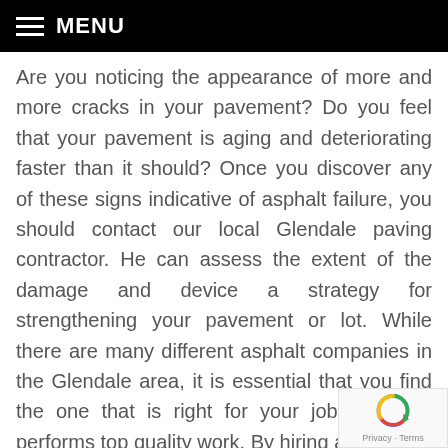MENU
Are you noticing the appearance of more and more cracks in your pavement? Do you feel that your pavement is aging and deteriorating faster than it should? Once you discover any of these signs indicative of asphalt failure, you should contact our local Glendale paving contractor. He can assess the extent of the damage and device a strategy for strengthening your pavement or lot. While there are many different asphalt companies in the Glendale area, it is essential that you find the one that is right for your job and who performs top quality work. By hiring a company such as Roadrunner Paving, you know you